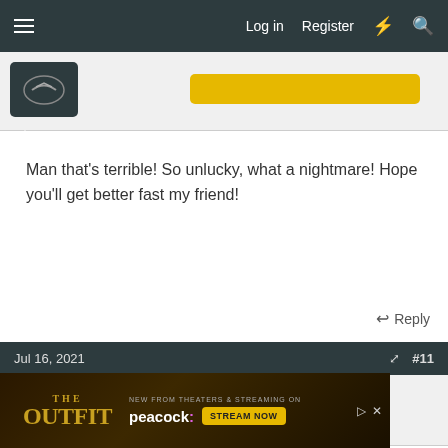Log in  Register
[Figure (screenshot): Partial previous post with user avatar and gold badge button]
Man that's terrible! So unlucky, what a nightmare! Hope you'll get better fast my friend!
Reply
Jul 16, 2021  #11
[Figure (screenshot): User avatar for mjseakan showing a Mustang logo on dark background with online indicator dot]
mjseakan
Well-known member  7173 Mustang Supporter Member
Holy sh!t that's terrible! I'm sorry to hear about this nightmare.
[Figure (screenshot): Advertisement banner for The Outfit movie - new from theaters and streaming on Peacock, stream now button]